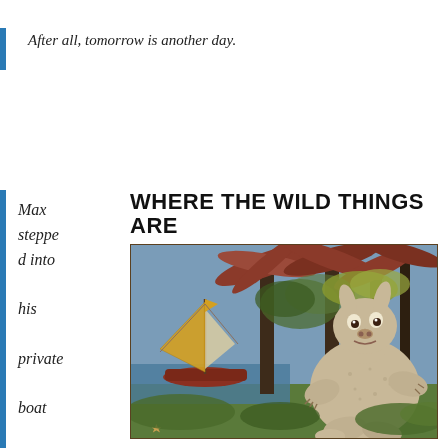After all, tomorrow is another day.
Max stepped into his private boat and waved goodbye and
WHERE THE WILD THINGS ARE
[Figure (illustration): Book cover illustration of Where the Wild Things Are showing a large monster/wild thing sitting among palm trees and forest, with a sailboat on water in the background. The wild thing is a large bear-like creature with horns.]
STORY AND PICTURES BY MAURICE SENDAK